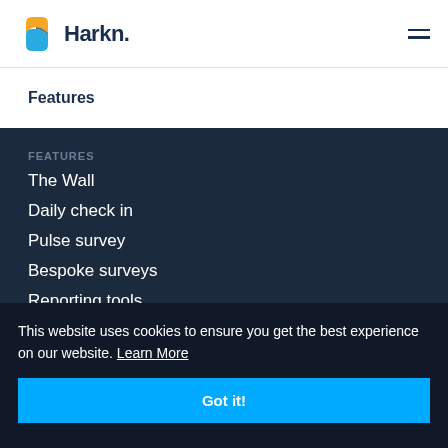[Figure (logo): Harkn logo with orange and blue overlapping shapes and wordmark 'Harkn.']
Features
Features
The Wall
Daily check in
Pulse survey
Bespoke surveys
Reporting tools
This website uses cookies to ensure you get the best experience on our website. Learn More
Got it!